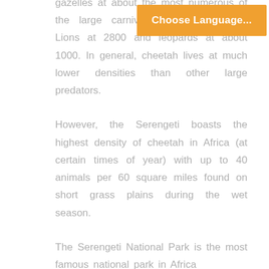[Figure (screenshot): Orange 'Choose Language...' button overlaid on text]
gazelles at about the most numerous of the large carnivores at about 9000, Lions at 2800 and leopards at about 1000. In general, cheetah lives at much lower densities than other large predators.

However, the Serengeti boasts the highest density of cheetah in Africa (at certain times of year) with up to 40 animals per 60 square miles found on short grass plains during the wet season.

The Serengeti National Park is the most famous national park in Africa